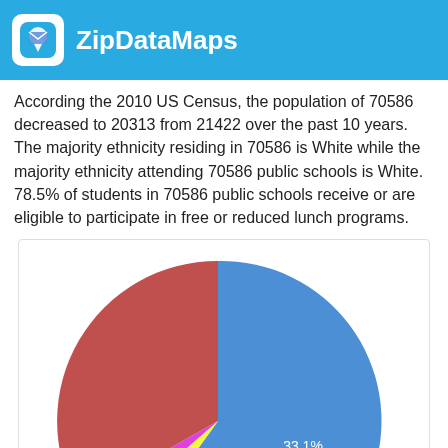ZipDataMaps
According the 2010 US Census, the population of 70586 decreased to 20313 from 21422 over the past 10 years. The majority ethnicity residing in 70586 is White while the majority ethnicity attending 70586 public schools is White. 78.5% of students in 70586 public schools receive or are eligible to participate in free or reduced lunch programs.
[Figure (pie-chart): ]